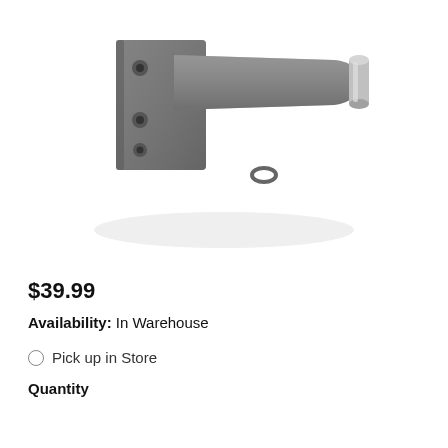[Figure (photo): A gray metal wall bracket/mount with a horizontal arm extending to the right, ending with a silver cylindrical connector. The bracket has a flat back plate with mounting holes. White background.]
$39.99
Availability: In Warehouse
Pick up in Store
Quantity